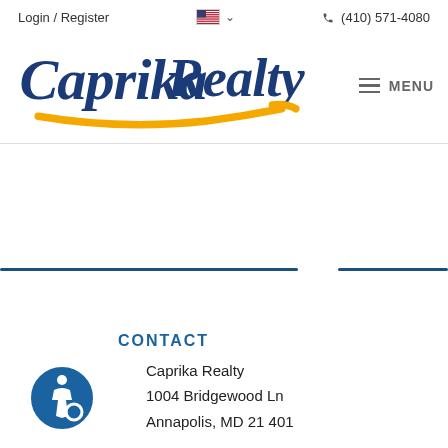Login / Register   (410) 571-4080
[Figure (logo): Caprika Realty logo — blue cursive script with gold swoosh underline]
CONTACT
Caprika Realty
1004 Bridgewood Ln
Annapolis, MD 21401